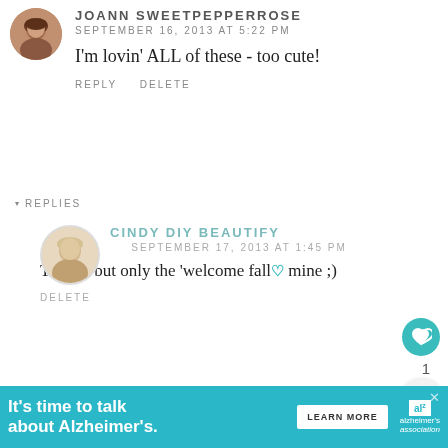[Figure (photo): Avatar photo of JoAnn SweetPepperRose, a woman with brown hair]
JOANN SWEETPEPPERROSE
SEPTEMBER 16, 2013 AT 5:22 PM
I'm lovin' ALL of these - too cute!
REPLY   DELETE
▾ REPLIES
[Figure (photo): Avatar photo of Cindy DIY Beautify, a woman with blonde hair]
CINDY DIY BEAUTIFY
SEPTEMBER 17, 2013 AT 1:45 PM
Thanks but only the 'welcome fall' is mine ;)
DELETE
SRPPRCRFTR
SEPTEMBER 17, 2013 AT 12:20 AM
[Figure (infographic): Alzheimer's Association advertisement banner: 'It's time to talk about Alzheimer's.' with LEARN MORE button]